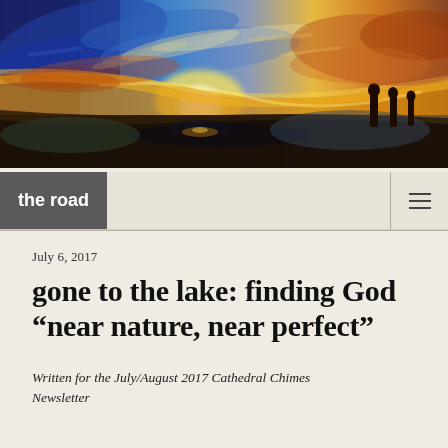[Figure (illustration): Impressionistic painting of a landscape at sunset with swirling blue sky, golden and orange tones, and dark silhouetted figures on the right side]
the road
July 6, 2017
gone to the lake: finding God “near nature, near perfect”
Written for the July/August 2017 Cathedral Chimes Newsletter